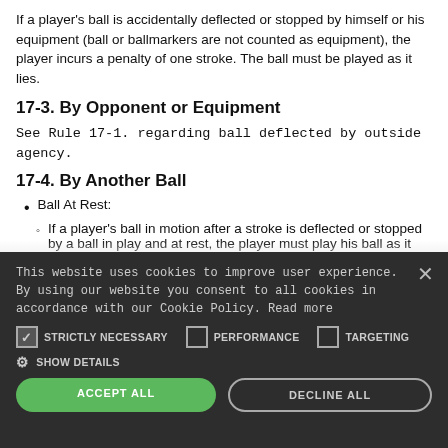If a player's ball is accidentally deflected or stopped by himself or his equipment (ball or ballmarkers are not counted as equipment), the player incurs a penalty of one stroke. The ball must be played as it lies.
17-3. By Opponent or Equipment
See Rule 17-1. regarding ball deflected by outside agency.
17-4. By Another Ball
Ball At Rest:
If a player's ball in motion after a stroke is deflected or stopped by a ball in play and at rest, the player must play his ball as it lies. there is
This website uses cookies to improve user experience. By using our website you consent to all cookies in accordance with our Cookie Policy. Read more
STRICTLY NECESSARY   PERFORMANCE   TARGETING
SHOW DETAILS
ACCEPT ALL   DECLINE ALL